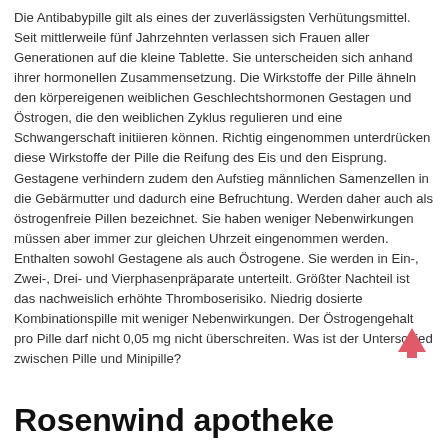Die Antibabypille gilt als eines der zuverlässigsten Verhütungsmittel. Seit mittlerweile fünf Jahrzehnten verlassen sich Frauen aller Generationen auf die kleine Tablette. Sie unterscheiden sich anhand ihrer hormonellen Zusammensetzung. Die Wirkstoffe der Pille ähneln den körpereigenen weiblichen Geschlechtshormonen Gestagen und Östrogen, die den weiblichen Zyklus regulieren und eine Schwangerschaft initiieren können. Richtig eingenommen unterdrücken diese Wirkstoffe der Pille die Reifung des Eis und den Eisprung. Gestagene verhindern zudem den Aufstieg männlichen Samenzellen in die Gebärmutter und dadurch eine Befruchtung. Werden daher auch als östrogenfreie Pillen bezeichnet. Sie haben weniger Nebenwirkungen müssen aber immer zur gleichen Uhrzeit eingenommen werden. Enthalten sowohl Gestagene als auch Östrogene. Sie werden in Ein-, Zwei-, Drei- und Vierphasenpräparate unterteilt. Größter Nachteil ist das nachweislich erhöhte Thromboserisiko. Niedrig dosierte Kombinationspille mit weniger Nebenwirkungen. Der Östrogengehalt pro Pille darf nicht 0,05 mg nicht überschreiten. Was ist der Unterschied zwischen Pille und Minipille?
[Figure (other): Pink upward arrow icon]
Rosenwind apotheke